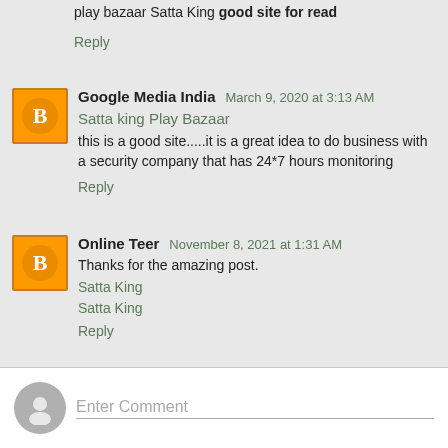play bazaar Satta King good site for read
Reply
Google Media India  March 9, 2020 at 3:13 AM
Satta king Play Bazaar
this is a good site.....it is a great idea to do business with a security company that has 24*7 hours monitoring
Reply
Online Teer  November 8, 2021 at 1:31 AM
Thanks for the amazing post.
Satta King
Satta King
Reply
Enter Comment